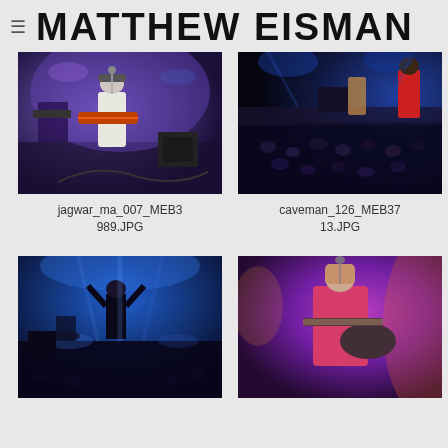MATTHEW EISMAN
[Figure (photo): Concert photo: guitarist in white t-shirt and hat playing on stage with blue/purple lighting]
jagwar_ma_007_MEB3989.JPG
[Figure (photo): Concert photo: performer on stage with crowd below, blue lighting, overhead view]
caveman_126_MEB3713.JPG
[Figure (photo): Concert photo: performer on stage with blue stage lighting and crowd in background]
[Figure (photo): Concert photo: guitarist in pink/red under purple and orange stage lighting]